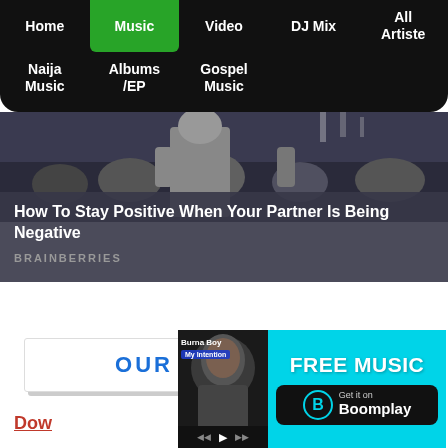Home | Music | Video | DJ Mix | All Artiste | Naija Music | Albums/EP | Gospel Music
[Figure (photo): Crowd at a concert/event, people from behind, night scene]
How To Stay Positive When Your Partner Is Being Negative
BRAINBERRIES
OUR TOP PAGES
Dow
[Figure (infographic): Boomplay advertisement: FREE MUSIC - Get it on Boomplay, with Burna Boy thumbnail]